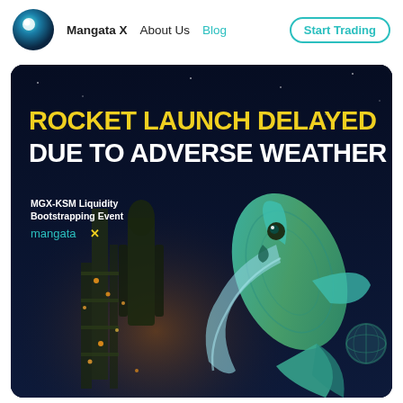Mangata X   About Us   Blog   Start Trading
[Figure (illustration): Dark blue promotional card with text 'ROCKET LAUNCH DELAYED DUE TO ADVERSE WEATHER' in large yellow and white sans-serif type. Below left: 'MGX-KSM Liquidity Bootstrapping Event' in white and 'mangata X' in teal. Background shows a night-time rocket launch pad with lights and a stylized illustrated fish/whale creature overlaid on the right side.]